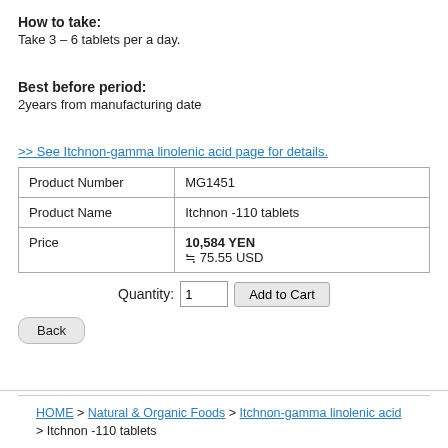How to take:
Take 3 – 6 tablets per a day.
Best before period:
2years from manufacturing date
>> See Itchnon-gamma linolenic acid page for details.
| Product Number | MG1451 |
| --- | --- |
| Product Number | MG1451 |
| Product Name | Itchnon -110 tablets |
| Price | 10,584 YEN
≒ 75.55 USD |
Quantity: 1   Add to Cart
Back
HOME > Natural & Organic Foods > Itchnon-gamma linolenic acid > Itchnon -110 tablets